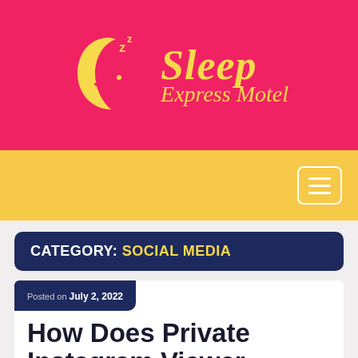[Figure (logo): Sleep Express Motel logo with yellow crescent moon graphic and stylized text on pink background]
Navigation bar with hamburger menu button
CATEGORY: SOCIAL MEDIA
Posted on July 2, 2022
How Does Private Instagram Viewer Works